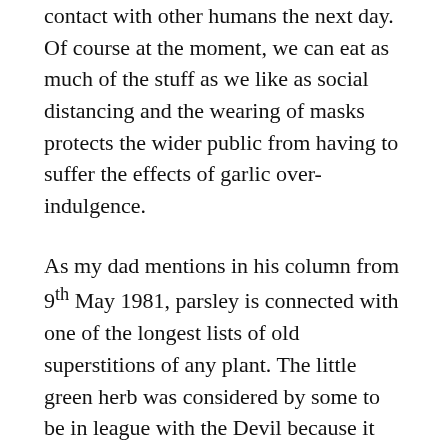contact with other humans the next day. Of course at the moment, we can eat as much of the stuff as we like as social distancing and the wearing of masks protects the wider public from having to suffer the effects of garlic over-indulgence.
As my dad mentions in his column from 9th May 1981, parsley is connected with one of the longest lists of old superstitions of any plant. The little green herb was considered by some to be in league with the Devil because it took so long to emerge from the ground. The belief was that its roots extended down to the very pits of Hell and would go there and back nine times before sprouting. The only way to protect yourself was to make sure God was on